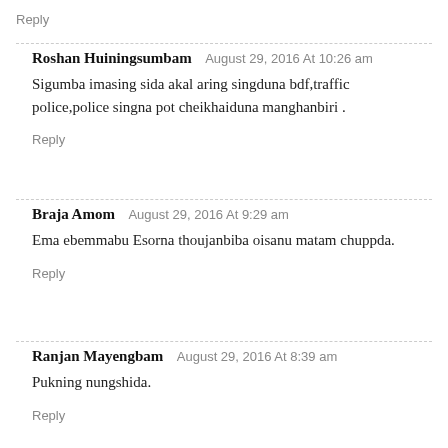Reply
Roshan Huiningsumbam   August 29, 2016 At 10:26 am
Sigumba imasing sida akal aring singduna bdf,traffic police,police singna pot cheikhaiduna manghanbiri .
Reply
Braja Amom   August 29, 2016 At 9:29 am
Ema ebemmabu Esorna thoujanbiba oisanu matam chuppda.
Reply
Ranjan Mayengbam   August 29, 2016 At 8:39 am
Pukning nungshida.
Reply